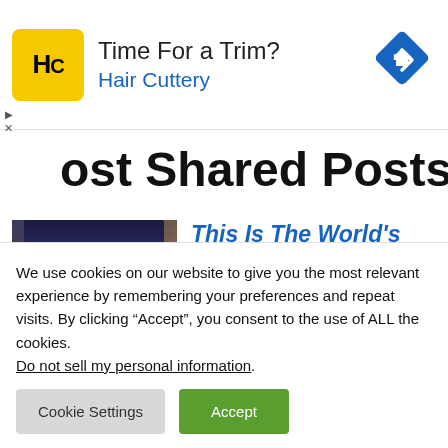[Figure (infographic): Hair Cuttery advertisement banner with yellow logo (HC), text 'Time For a Trim?' and 'Hair Cuttery' in blue, blue diamond navigation arrow icon on the right, play and X ad controls on the left]
ost Shared Posts
[Figure (photo): Photo of a Thunderbolt 4 hub device on a wooden desk with monitors in background]
This Is The World's First Thunderbolt 4 Hub With An Integrated GaN Power
We use cookies on our website to give you the most relevant experience by remembering your preferences and repeat visits. By clicking “Accept”, you consent to the use of ALL the cookies.
Do not sell my personal information.
Cookie Settings    Accept